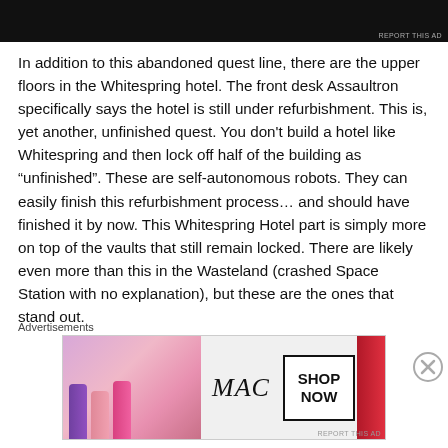[Figure (screenshot): Top partial image, dark/black background, cropped]
In addition to this abandoned quest line, there are the upper floors in the Whitespring hotel. The front desk Assaultron specifically says the hotel is still under refurbishment. This is, yet another, unfinished quest. You don't build a hotel like Whitespring and then lock off half of the building as “unfinished”. These are self-autonomous robots. They can easily finish this refurbishment process… and should have finished it by now. This Whitespring Hotel part is simply more on top of the vaults that still remain locked. There are likely even more than this in the Wasteland (crashed Space Station with no explanation), but these are the ones that stand out.
Advertisements
[Figure (photo): MAC cosmetics advertisement banner showing lipsticks and SHOP NOW button]